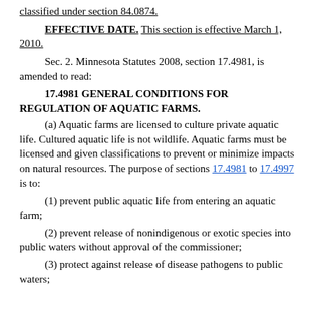classified under section 84.0874.
EFFECTIVE DATE. This section is effective March 1, 2010.
Sec. 2. Minnesota Statutes 2008, section 17.4981, is amended to read:
17.4981 GENERAL CONDITIONS FOR REGULATION OF AQUATIC FARMS.
(a) Aquatic farms are licensed to culture private aquatic life. Cultured aquatic life is not wildlife. Aquatic farms must be licensed and given classifications to prevent or minimize impacts on natural resources. The purpose of sections 17.4981 to 17.4997 is to:
(1) prevent public aquatic life from entering an aquatic farm;
(2) prevent release of nonindigenous or exotic species into public waters without approval of the commissioner;
(3) protect against release of disease pathogens to public waters;